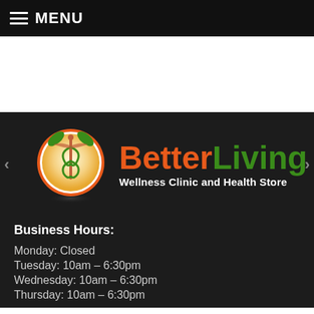MENU
[Figure (logo): BetterLiving Wellness Clinic and Health Store logo with caduceus medical symbol inside an orange circle, green leaves on top]
BetterLiving Wellness Clinic and Health Store
Business Hours:
Monday: Closed
Tuesday: 10am – 6:30pm
Wednesday: 10am – 6:30pm
Thursday: 10am – 6:30pm